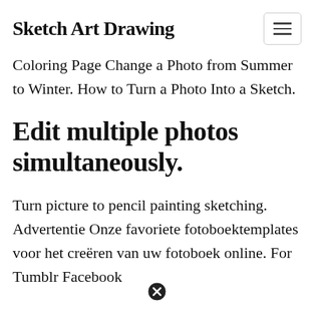Sketch Art Drawing
Coloring Page Change a Photo from Summer to Winter. How to Turn a Photo Into a Sketch.
Edit multiple photos simultaneously.
Turn picture to pencil painting sketching. Advertentie Onze favoriete fotoboektemplates voor het creëren van uw fotoboek online. For Tumblr Facebook